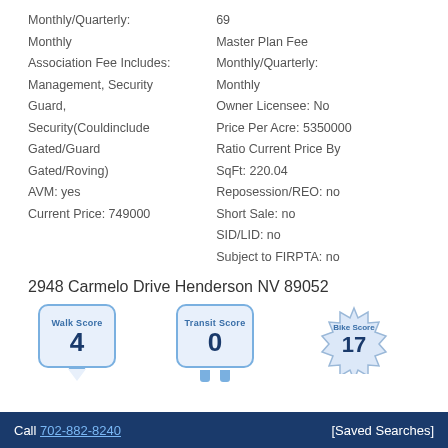Monthly/Quarterly: 69 | Monthly | Association Fee Includes: Monthly/Quarterly: | Monthly | Management, Security Guard, | Owner Licensee: No | Security(Couldinclude | Price Per Acre: 5350000 | Gated/Guard | Ratio Current Price By | Gated/Roving) | SqFt: 220.04 | AVM: yes | Reposession/REO: no | Current Price: 749000 | Short Sale: no | SID/LID: no | Subject to FIRPTA: no
2948 Carmelo Drive Henderson NV 89052
[Figure (infographic): Walk Score badge showing score of 4, Transit Score badge showing score of 0, Bike Score badge showing score of 17]
Call 702-882-8240 [Saved Searches]